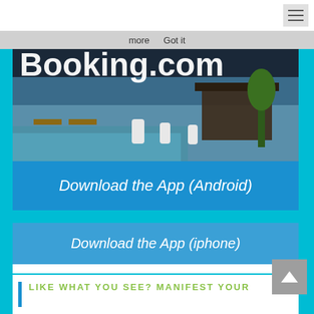more  Got it
[Figure (screenshot): Booking.com app banner showing the Booking.com logo over a resort pool background with a blue 'Download the App (Android)' button below]
Download the App (Android)
Download the App (iphone)
LIKE WHAT YOU SEE? MANIFEST YOUR